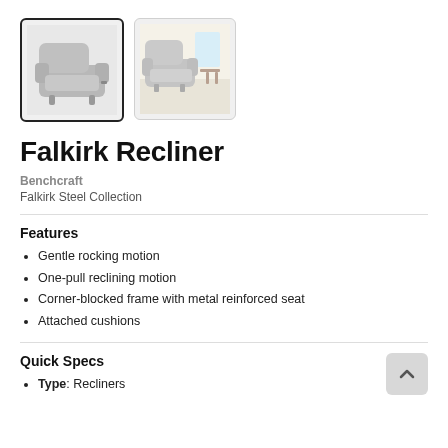[Figure (photo): Two thumbnail images of the Falkirk Recliner chair. The first (selected, with bold border) shows a gray upholstered recliner on white background. The second shows the same recliner in a room setting.]
Falkirk Recliner
Benchcraft
Falkirk Steel Collection
Features
Gentle rocking motion
One-pull reclining motion
Corner-blocked frame with metal reinforced seat
Attached cushions
Quick Specs
Type: Recliners